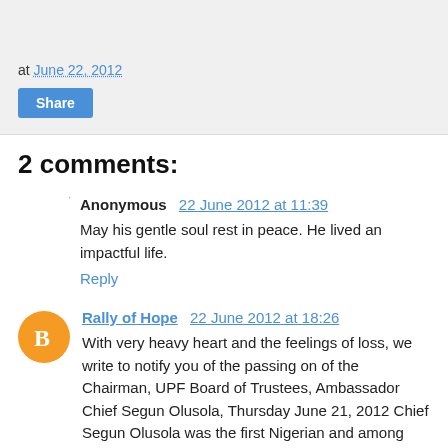at June 22, 2012
Share
2 comments:
Anonymous  22 June 2012 at 11:39
May his gentle soul rest in peace. He lived an impactful life.
Reply
Rally of Hope  22 June 2012 at 18:26
With very heavy heart and the feelings of loss, we write to notify you of the passing on of the Chairman, UPF Board of Trustees, Ambassador Chief Segun Olusola, Thursday June 21, 2012 Chief Segun Olusola was the first Nigerian and among very few Africans who was appointed by the International Body as a member of the Global Peace